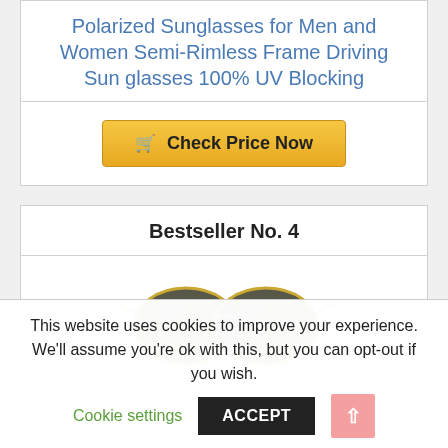Polarized Sunglasses for Men and Women Semi-Rimless Frame Driving Sun glasses 100% UV Blocking
Check Price Now
Bestseller No. 4
[Figure (photo): Aviator-style sunglasses with gold frame and dark green/grey lenses]
This website uses cookies to improve your experience. We'll assume you're ok with this, but you can opt-out if you wish.
Cookie settings
ACCEPT